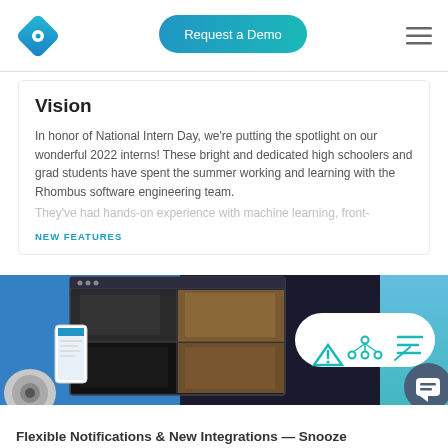[Figure (logo): Rhombus diamond/compass logo in teal/blue gradient]
[Figure (screenshot): Request a Demo button - blue gradient pill button]
Vision
In honor of National Intern Day, we're putting the spotlight on our wonderful 2022 interns! These bright and dedicated high schoolers and grad students have spent the summer working and learning with the Rhombus software engineering team. They've had hands-on experience with machine learning, front-
NEW FEATURES
[Figure (screenshot): Product screenshot showing security camera dashboard with multiple camera feeds, a phone mockup, camera hardware, and an icon pill with alert/network/list icons. Blue gradient background.]
Flexible Notifications & New Integrations — Snooze